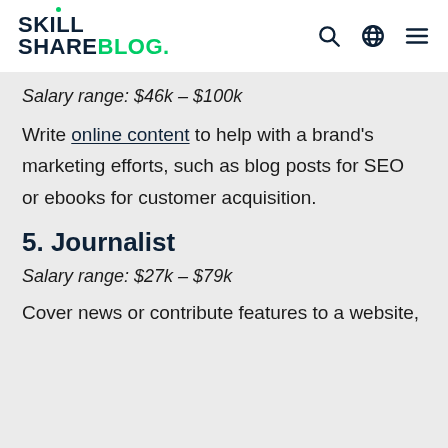SkillShare Blog.
Salary range: $46k – $100k
Write online content to help with a brand's marketing efforts, such as blog posts for SEO or ebooks for customer acquisition.
5. Journalist
Salary range: $27k – $79k
Cover news or contribute features to a website,